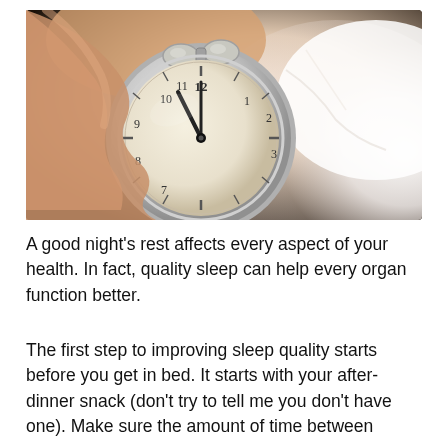[Figure (photo): Close-up photo of a person's hand holding a white analog alarm clock in bed, with white bedding/pillow blurred in the background. The clock face shows numerals 7-12 and 1-3 visible, with hands pointing near 12.]
A good night's rest affects every aspect of your health. In fact, quality sleep can help every organ function better.
The first step to improving sleep quality starts before you get in bed. It starts with your after-dinner snack (don't try to tell me you don't have one). Make sure the amount of time between